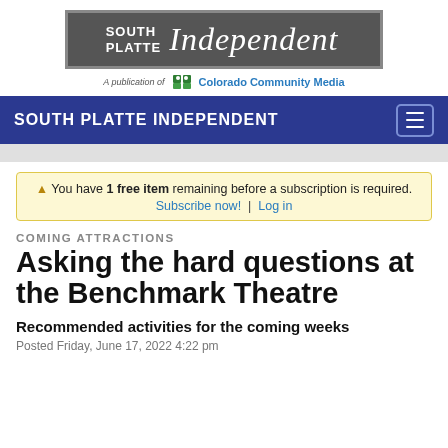[Figure (logo): South Platte Independent newspaper logo on gray background with 'A publication of Colorado Community Media' below]
SOUTH PLATTE INDEPENDENT
▲ You have 1 free item remaining before a subscription is required. Subscribe now! | Log in
COMING ATTRACTIONS
Asking the hard questions at the Benchmark Theatre
Recommended activities for the coming weeks
Posted Friday, June 17, 2022 4:22 pm